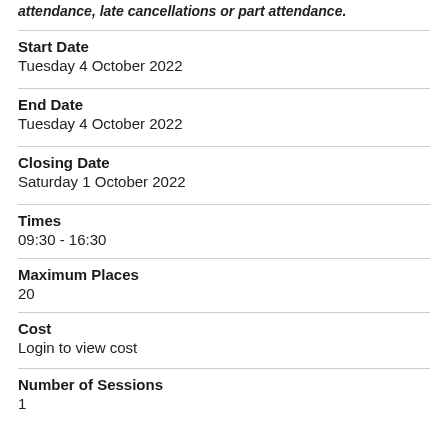attendance, late cancellations or part attendance.
Start Date
Tuesday 4 October 2022
End Date
Tuesday 4 October 2022
Closing Date
Saturday 1 October 2022
Times
09:30 - 16:30
Maximum Places
20
Cost
Login to view cost
Number of Sessions
1